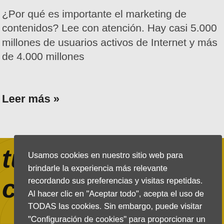¿Por qué es importante el marketing de contenidos? Lee con atención. Hay casi 5.000 millones de usuarios activos de Internet y más de 4.000 millones
Leer más »
Usamos cookies en nuestro sitio web para brindarle la experiencia más relevante recordando sus preferencias y visitas repetidas. Al hacer clic en "Aceptar todo", acepta el uso de TODAS las cookies. Sin embargo, puede visitar "Configuración de cookies" para proporcionar un consentimiento controlado.
[Figure (screenshot): Cookie consent dialog with two buttons: 'Configuración' (white button) and 'Aceptar Todas' (green button), overlaid on a webpage about marketing de contenidos with a golden banner and astronaut illustration]